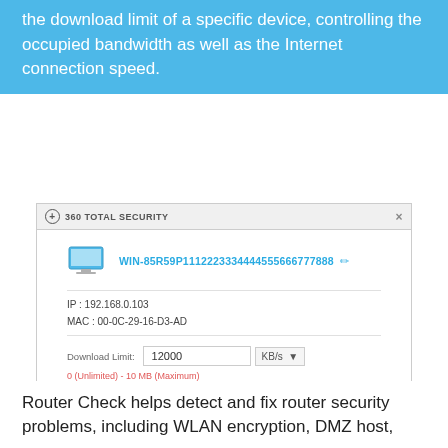the download limit of a specific device, controlling the occupied bandwidth as well as the Internet connection speed.
[Figure (screenshot): 360 Total Security application dialog showing device WIN-85R59P1112223334444555666777888 with IP 192.168.0.103, MAC 00-0C-29-16-D3-AD, download limit field set to 12000 KB/s, with Cancel and OK buttons.]
Router Check helps detect and fix router security problems, including WLAN encryption, DMZ host,